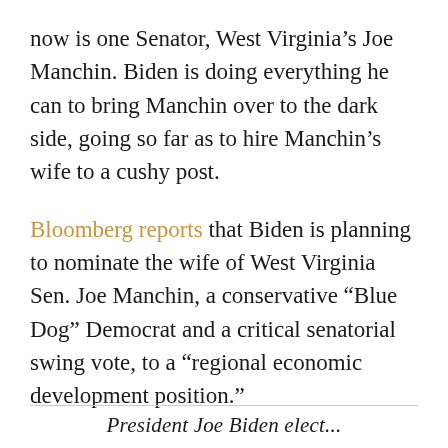now is one Senator, West Virginia's Joe Manchin. Biden is doing everything he can to bring Manchin over to the dark side, going so far as to hire Manchin's wife to a cushy post.
Bloomberg reports that Biden is planning to nominate the wife of West Virginia Sen. Joe Manchin, a conservative “Blue Dog” Democrat and a critical senatorial swing vote, to a “regional economic development position.”
President Joe Biden elect...